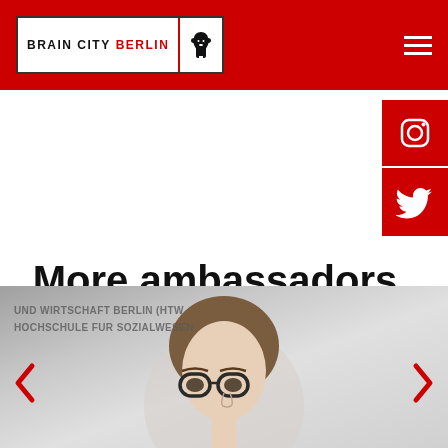BRAIN CITY BERLIN
[Figure (logo): Brain City Berlin logo with red Berlin bear on white background, in header nav bar]
[Figure (illustration): Instagram icon (white camera icon on red background)]
[Figure (illustration): Twitter icon (white bird icon on red background)]
More ambassadors
[Figure (photo): Photo of a person with glasses and curly hair, partially visible. Overlay text reads: UND WIRTSCHAFT BERLIN (HTW), HOCHSCHULE FUR SOZIALWESEN]
UND WIRTSCHAFT BERLIN (HTW HOCHSCHULE FUR SOZIALWESEN